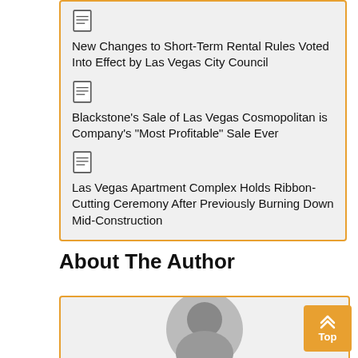New Changes to Short-Term Rental Rules Voted Into Effect by Las Vegas City Council
Blackstone's Sale of Las Vegas Cosmopolitan is Company's "Most Profitable" Sale Ever
Las Vegas Apartment Complex Holds Ribbon-Cutting Ceremony After Previously Burning Down Mid-Construction
About The Author
[Figure (photo): Headshot of a bald man in a circular crop, partially visible at the bottom of the page]